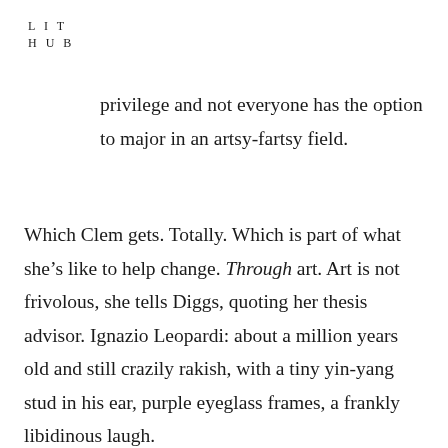LIT
HUB
privilege and not everyone has the option to major in an artsy-fartsy field.
Which Clem gets. Totally. Which is part of what she’s like to help change. Through art. Art is not frivolous, she tells Diggs, quoting her thesis advisor. Ignazio Leopardi: about a million years old and still crazily rakish, with a tiny yin-yang stud in his ear, purple eyeglass frames, a frankly libidinous laugh.